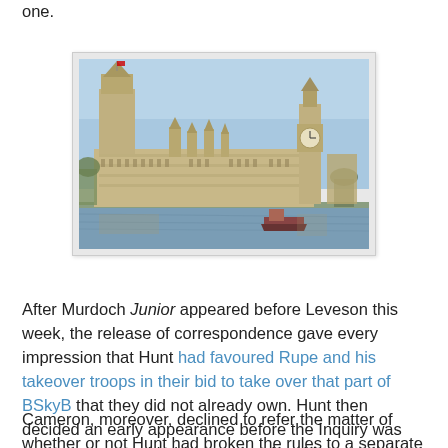one.
[Figure (photo): Photograph of the Houses of Parliament (Palace of Westminster) and Big Ben viewed from across the River Thames, with boats on the water and a clear blue sky.]
After Murdoch Junior appeared before Leveson this week, the release of correspondence gave every impression that Hunt had favoured Rupe and his takeover troops in their bid to take over that part of BSkyB that they did not already own. Hunt then decided an early appearance before the Inquiry was necessary to enable him to show that this was not the case.
Cameron, moreover, declined to refer the matter of whether or not Hunt had broken the rules to a separate inquiry, so